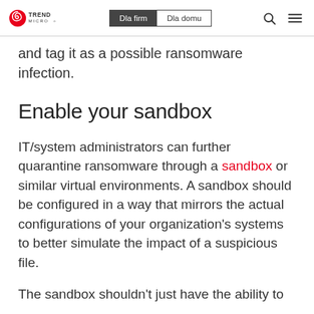Trend Micro | Dla firm | Dla domu
and tag it as a possible ransomware infection.
Enable your sandbox
IT/system administrators can further quarantine ransomware through a sandbox or similar virtual environments. A sandbox should be configured in a way that mirrors the actual configurations of your organization's systems to better simulate the impact of a suspicious file.
The sandbox shouldn’t just have the ability to